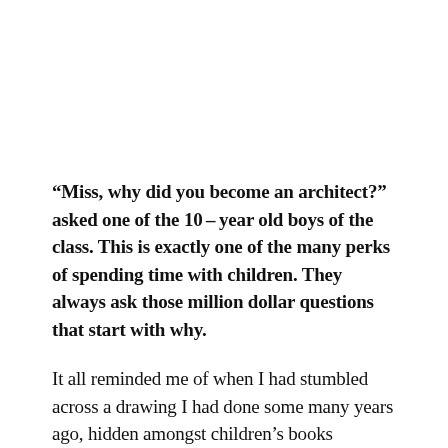“Miss, why did you become an architect?” asked one of the 10-year old boys of the class. This is exactly one of the many perks of spending time with children. They always ask those million dollar questions that start with why.
It all reminded me of when I had stumbled across a drawing I had done some many years ago, hidden amongst children’s books